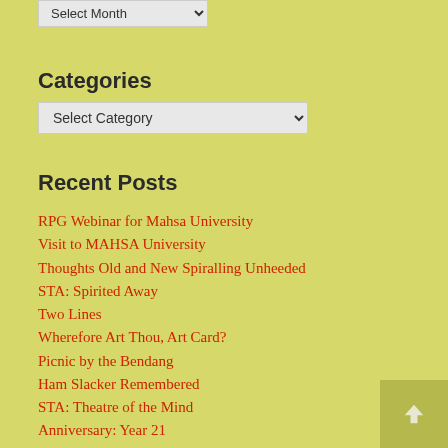[Figure (screenshot): Select Month dropdown input with chevron arrow]
Categories
[Figure (screenshot): Select Category dropdown input with chevron arrow]
Recent Posts
RPG Webinar for Mahsa University
Visit to MAHSA University
Thoughts Old and New Spiralling Unheeded
STA: Spirited Away
Two Lines
Wherefore Art Thou, Art Card?
Picnic by the Bendang
Ham Slacker Remembered
STA: Theatre of the Mind
Anniversary: Year 21